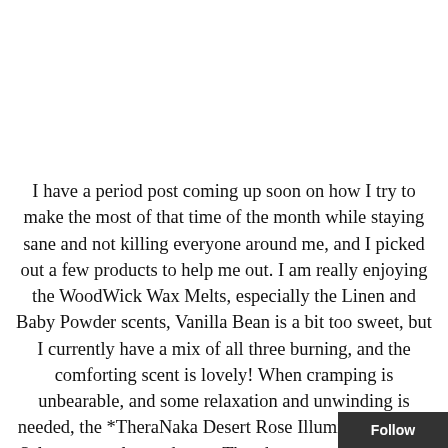I have a period post coming up soon on how I try to make the most of that time of the month while staying sane and not killing everyone around me, and I picked out a few products to help me out. I am really enjoying the WoodWick Wax Melts, especially the Linen and Baby Powder scents, Vanilla Bean is a bit too sweet, but I currently have a mix of all three burning, and the comforting scent is lovely! When cramping is unbearable, and some relaxation and unwinding is needed, the *TheraNaka Desert Rose Illuminating Rose Salts are a welcomed treat. They have a wonderful rose scent, make my bath water a shimmering bronze and help calm my mind and body. I have had my eye on cotton pads for a while now, and I finally caved and ordered from them and started using them after the third load at the